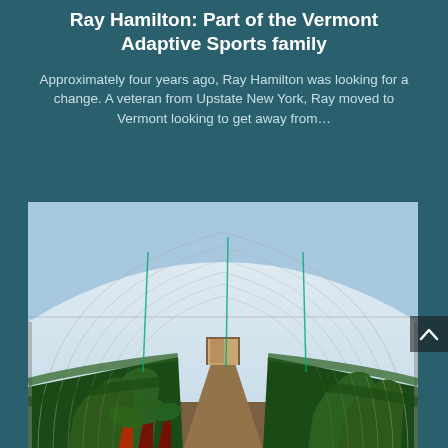Ray Hamilton: Part of the Vermont Adaptive Sports family
Approximately four years ago, Ray Hamilton was looking for a change. A veteran from Upstate New York, Ray moved to Vermont looking to get away from...
[Figure (photo): Interior of a greenhouse/polytunnel showing rows of leafy green vegetables and Swiss chard growing under a curved translucent roof structure, with a door visible at the far end.]